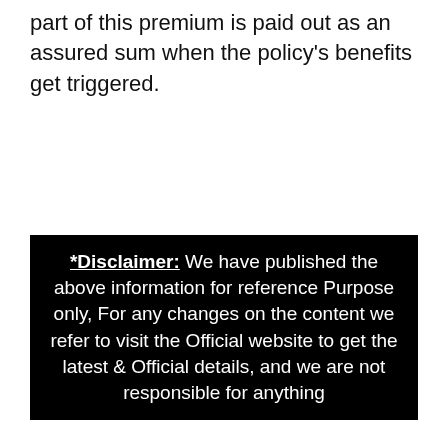part of this premium is paid out as an assured sum when the policy's benefits get triggered.
*Disclaimer: We have published the above information for reference Purpose only, For any changes on the content we refer to visit the Official website to get the latest & Official details, and we are not responsible for anything
PLI Premium Calculator, How to calculate postal life insurance premium Online?
How to Pay LIC Premium Payment 2022 at Life Insurance Corporation portal licindia.in